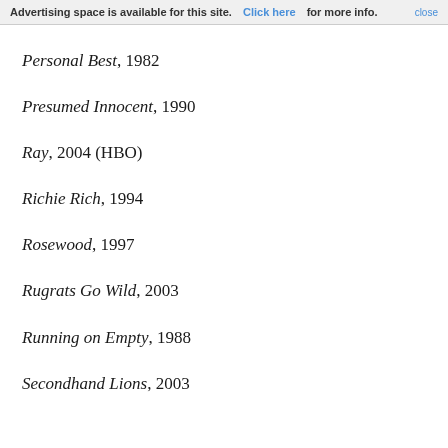Advertising space is available for this site. Click here for more info. close
Personal Best, 1982
Presumed Innocent, 1990
Ray, 2004 (HBO)
Richie Rich, 1994
Rosewood, 1997
Rugrats Go Wild, 2003
Running on Empty, 1988
Secondhand Lions, 2003